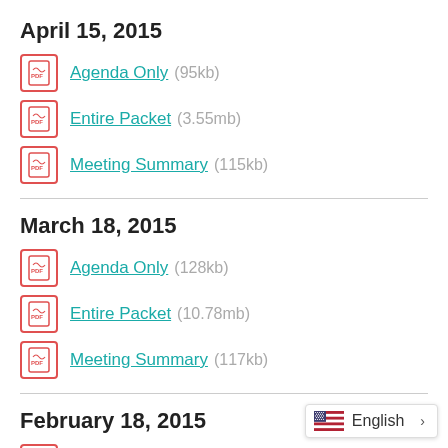April 15, 2015
Agenda Only  (95kb)
Entire Packet  (3.55mb)
Meeting Summary  (115kb)
March 18, 2015
Agenda Only  (128kb)
Entire Packet  (10.78mb)
Meeting Summary  (117kb)
February 18, 2015
Agenda Only  (129kb)